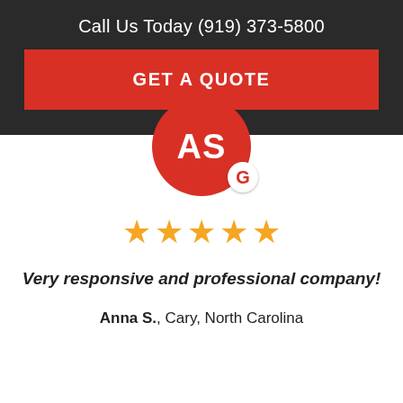Call Us Today (919) 373-5800
GET A QUOTE
[Figure (illustration): Red circle avatar with white initials AS and a Google G badge]
[Figure (illustration): Five gold star rating]
Very responsive and professional company!
Anna S., Cary, North Carolina